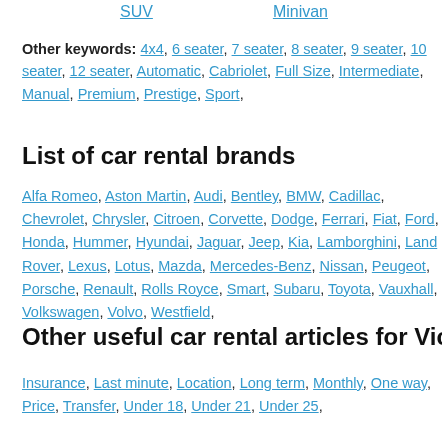SUV   Minivan
Other keywords: 4x4, 6 seater, 7 seater, 8 seater, 9 seater, 10 seater, 12 seater, Automatic, Cabriolet, Full Size, Intermediate, Manual, Premium, Prestige, Sport,
List of car rental brands
Alfa Romeo, Aston Martin, Audi, Bentley, BMW, Cadillac, Chevrolet, Chrysler, Citroen, Corvette, Dodge, Ferrari, Fiat, Ford, Honda, Hummer, Hyundai, Jaguar, Jeep, Kia, Lamborghini, Land Rover, Lexus, Lotus, Mazda, Mercedes-Benz, Nissan, Peugeot, Porsche, Renault, Rolls Royce, Smart, Subaru, Toyota, Vauxhall, Volkswagen, Volvo, Westfield,
Other useful car rental articles for Victor
Insurance, Last minute, Location, Long term, Monthly, One way, Price, Transfer, Under 18, Under 21, Under 25,